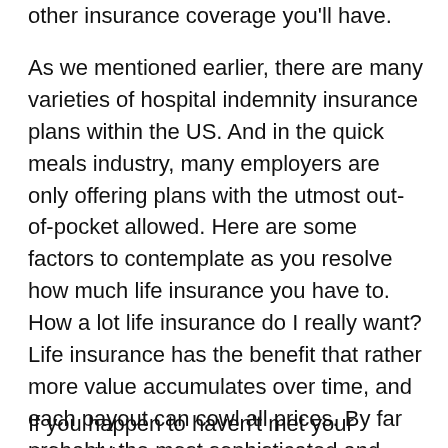other insurance coverage you'll have.
As we mentioned earlier, there are many varieties of hospital indemnity insurance plans within the US. And in the quick meals industry, many employers are only offering plans with the utmost out-of-pocket allowed. Here are some factors to contemplate as you resolve how much life insurance you have to. How a lot life insurance do I really want? Life insurance has the benefit that rather more value accumulates over time, and each payout can cowl all prices. By far probably the most sophisticated and most correct method of figuring out the quantity of life insurance coverage that is required.
If you happen to haven't met your deductible,